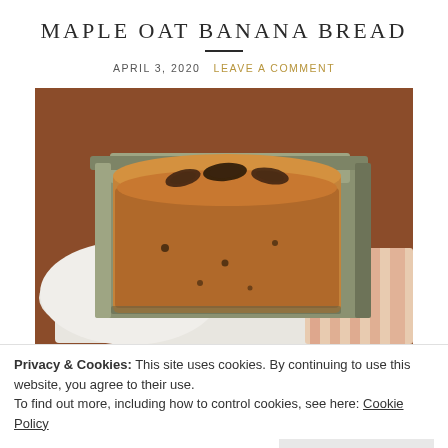MAPLE OAT BANANA BREAD
APRIL 3, 2020   LEAVE A COMMENT
[Figure (photo): A loaf of maple oat banana bread baked in a rectangular olive/sage green bread pan, sitting on a white cloth/paper towel with an orange and white striped cloth visible underneath. The top of the loaf has caramelized banana slices along the center. The pan is held or resting against a warm brown wooden background.]
Privacy & Cookies: This site uses cookies. By continuing to use this website, you agree to their use.
To find out more, including how to control cookies, see here: Cookie Policy
Close and accept
covered with a quick and easy maple oat banana bread to bring